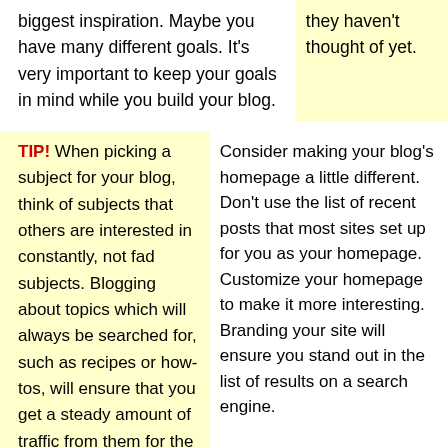biggest inspiration. Maybe you have many different goals. It's very important to keep your goals in mind while you build your blog.
they haven't thought of yet.
TIP! When picking a subject for your blog, think of subjects that others are interested in constantly, not fad subjects. Blogging about topics which will always be searched for, such as recipes or how-tos, will ensure that you get a steady amount of traffic from them for the life of your blog.
Consider making your blog's homepage a little different. Don't use the list of recent posts that most sites set up for you as your homepage. Customize your homepage to make it more interesting. Branding your site will ensure you stand out in the list of results on a search engine.
Ensure that you use links wisely on
TIP! Add surveys or polls to your blog. These can increase traffic by